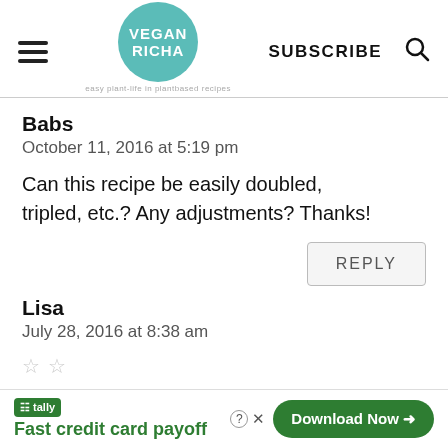VEGAN RICHA | SUBSCRIBE
Babs
October 11, 2016 at 5:19 pm
Can this recipe be easily doubled, tripled, etc.? Any adjustments? Thanks!
REPLY
Lisa
July 28, 2016 at 8:38 am
[Figure (screenshot): Advertisement overlay: Tally app - Fast credit card payoff, Download Now button, close and help icons]